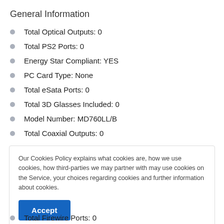General Information
Total Optical Outputs: 0
Total PS2 Ports: 0
Energy Star Compliant: YES
PC Card Type: None
Total eSata Ports: 0
Total 3D Glasses Included: 0
Model Number: MD760LL/B
Total Coaxial Outputs: 0
Our Cookies Policy explains what cookies are, how we use cookies, how third-parties we may partner with may use cookies on the Service, your choices regarding cookies and further information about cookies.
Total Firewire Ports: 0